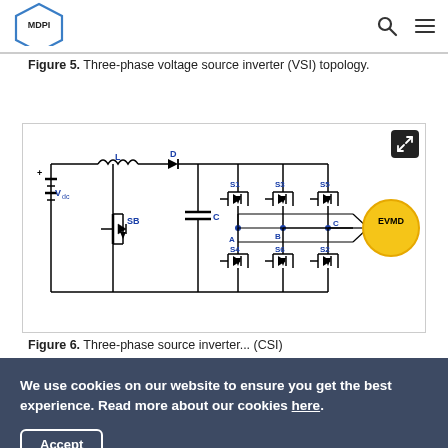MDPI
Figure 5. Three-phase voltage source inverter (VSI) topology.
[Figure (circuit-diagram): Three-phase voltage source inverter (VSI) circuit diagram showing a DC voltage source Vdc, inductor L, diode D, boost switch SB, capacitor C, six IGBT switches S1-S6 with anti-parallel diodes arranged in three half-bridge legs for phases A, B, C, connected to an EVMD motor load.]
Figure 6. Three-phase...  (CSI)
We use cookies on our website to ensure you get the best experience. Read more about our cookies here.
Accept